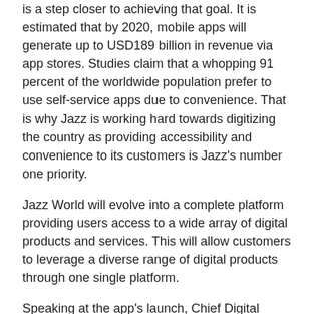is a step closer to achieving that goal. It is estimated that by 2020, mobile apps will generate up to USD189 billion in revenue via app stores. Studies claim that a whopping 91 percent of the worldwide population prefer to use self-service apps due to convenience. That is why Jazz is working hard towards digitizing the country as providing accessibility and convenience to its customers is Jazz's number one priority.
Jazz World will evolve into a complete platform providing users access to a wide array of digital products and services. This will allow customers to leverage a diverse range of digital products through one single platform.
Speaking at the app's launch, Chief Digital Officer, Aamer Ejaz, said, “In an increasingly digital world, it is imperative to offer customers the ease of self-servicing. Jazz World offers an easily accessible and user friendly interface, so millions of our users can be empowered enough to help themselves with basic queries and actions related to their